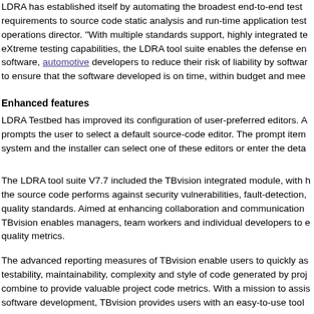LDRA has established itself by automating the broadest end-to-end test requirements to source code static analysis and run-time application test operations director. "With multiple standards support, highly integrated te eXtreme testing capabilities, the LDRA tool suite enables the defense en software, automotive developers to reduce their risk of liability by softwar to ensure that the software developed is on time, within budget and mee
Enhanced features
LDRA Testbed has improved its configuration of user-preferred editors. A prompts the user to select a default source-code editor. The prompt item system and the installer can select one of these editors or enter the deta
The LDRA tool suite V7.7 included the TBvision integrated module, with h the source code performs against security vulnerabilities, fault-detection, quality standards. Aimed at enhancing collaboration and communication TBvision enables managers, team workers and individual developers to e quality metrics.
The advanced reporting measures of TBvision enable users to quickly as testability, maintainability, complexity and style of code generated by proj combine to provide valuable project code metrics. With a mission to assis software development, TBvision provides users with an easy-to-use tool